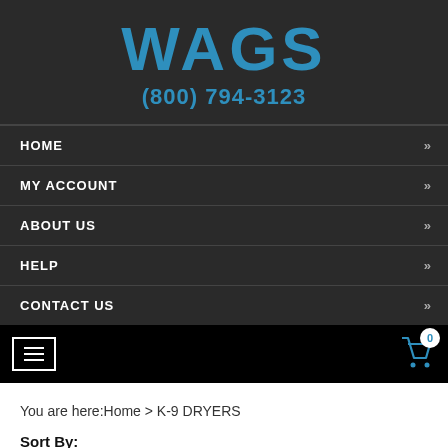[Figure (logo): WAGS logo in blue stylized font with phone number (800) 794-3123 below]
HOME »
MY ACCOUNT »
ABOUT US »
HELP »
CONTACT US »
[Figure (screenshot): Black toolbar with hamburger menu icon on left and shopping cart icon with badge showing 0 on right]
You are here:Home > K-9 DRYERS
Sort By:
Price: Low to High
Go